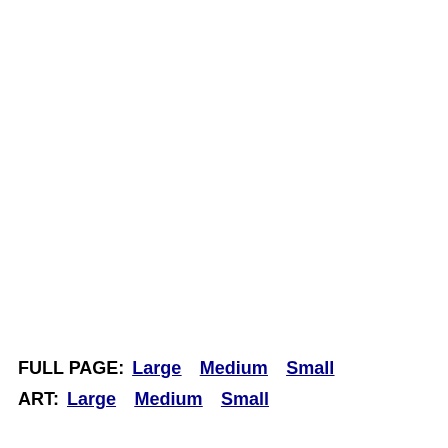FULL PAGE:  Large  Medium  Small
ART:  Large  Medium  Small